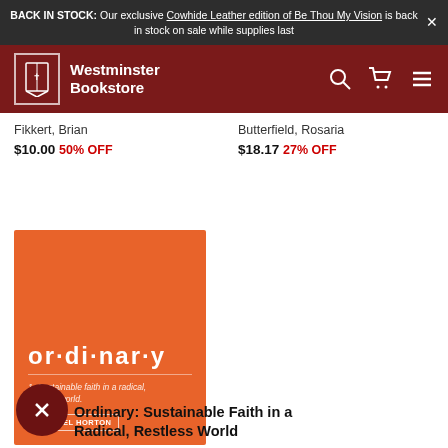BACK IN STOCK: Our exclusive Cowhide Leather edition of Be Thou My Vision is back in stock on sale while supplies last
[Figure (screenshot): Westminster Bookstore navigation bar with logo, search icon, cart icon, and hamburger menu on dark red background]
Fikkert, Brian
$10.00 50% OFF
Butterfield, Rosaria
$18.17 27% OFF
[Figure (photo): Orange book cover titled 'or·di·nar·y' with subtitle '1. Sustainable faith in a radical, restless world' by Michael Horton]
Ordinary: Sustainable Faith in a Radical, Restless World